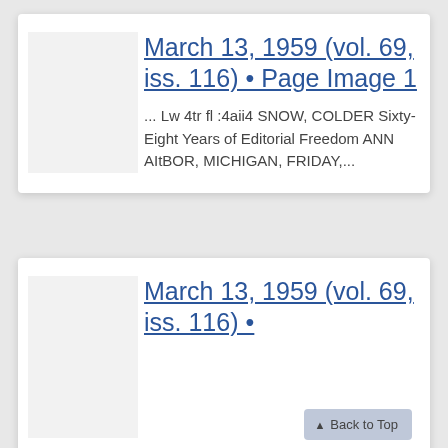March 13, 1959 (vol. 69, iss. 116) • Page Image 1
... Lw 4tr fl :4aii4 SNOW, COLDER Sixty-Eight Years of Editorial Freedom ANN AItBOR, MICHIGAN, FRIDAY,...
March 13, 1959 (vol. 69, iss. 116) •